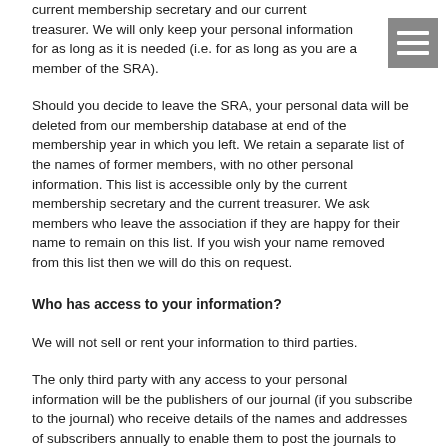current membership secretary and our current treasurer. We will only keep your personal information for as long as it is needed (i.e. for as long as you are a member of the SRA).
Should you decide to leave the SRA, your personal data will be deleted from our membership database at end of the membership year in which you left. We retain a separate list of the names of former members, with no other personal information. This list is accessible only by the current membership secretary and the current treasurer. We ask members who leave the association if they are happy for their name to remain on this list. If you wish your name removed from this list then we will do this on request.
Who has access to your information?
We will not sell or rent your information to third parties.
The only third party with any access to your personal information will be the publishers of our journal (if you subscribe to the journal) who receive details of the names and addresses of subscribers annually to enable them to post the journals to our members.
How you can access and update your information
The accuracy of your information is important to us. We're working on ways to make it easier for you to review and correct the information that we hold about you. In the meantime, if you change email address, or any of the other information we